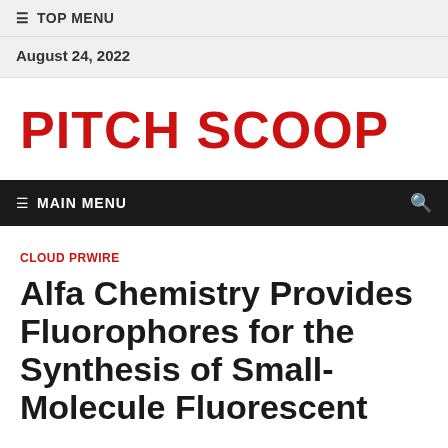≡ TOP MENU
August 24, 2022
PITCH SCOOP
≡ MAIN MENU
CLOUD PRWIRE
Alfa Chemistry Provides Fluorophores for the Synthesis of Small-Molecule Fluorescent